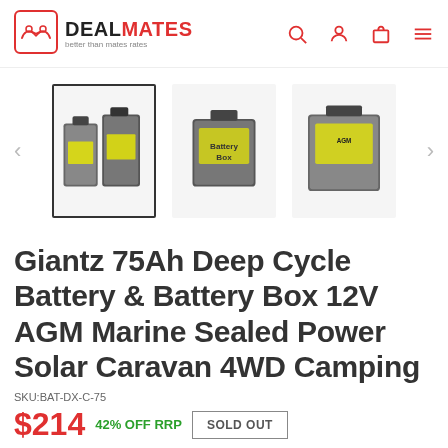DEAL MATES – better than mates rates
[Figure (photo): Product image carousel showing three thumbnail views of Giantz 75Ah Deep Cycle Battery and Battery Box. Left thumbnail (selected/highlighted) shows two batteries side by side, middle thumbnail shows battery box alone, right thumbnail shows AGM battery pack.]
Giantz 75Ah Deep Cycle Battery & Battery Box 12V AGM Marine Sealed Power Solar Caravan 4WD Camping
SKU:BAT-DX-C-75
$214  42% OFF RRP  SOLD OUT